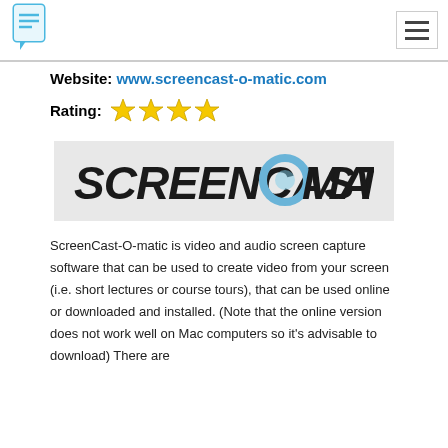Navigation header with logo and hamburger menu
Website: www.screencast-o-matic.com
Rating: ★★★★
[Figure (logo): Screencast-O-Matic logo on grey background with large bold italic text and a blue circle replacing the 'O']
ScreenCast-O-matic is video and audio screen capture software that can be used to create video from your screen (i.e. short lectures or course tours), that can be used online or downloaded and installed. (Note that the online version does not work well on Mac computers so it's advisable to download) There are